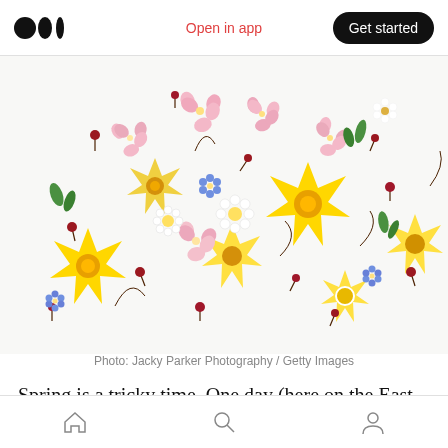Medium logo | Open in app | Get started
[Figure (photo): Flat lay photograph of various spring flowers scattered on a white background, including yellow daffodils, pink cherry blossoms, white daisies, blue forget-me-nots, and red berries.]
Photo: Jacky Parker Photography / Getty Images
Spring is a tricky time. One day (here on the East Coast of the Western Hemisphere, anyway) it's
Home | Search | Profile